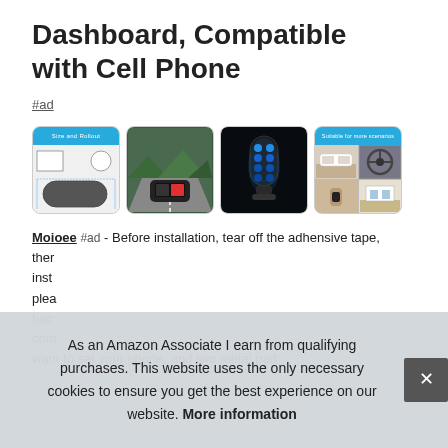Dashboard, Compatible with Cell Phone
#ad
[Figure (photo): Four product thumbnail images: 1) dimension diagram with blue header bar showing size specifications; 2) car dashboard with device mounted; 3) blue-lit electronic device close-up; 4) grid of four small images showing product in various settings with blue header bar]
Moioee #ad - Before installation, tear off the adhensive tape, then ... inst ... plea ... bac ... com ... want to set your phone, and two metal pad
As an Amazon Associate I earn from qualifying purchases. This website uses the only necessary cookies to ensure you get the best experience on our website. More information